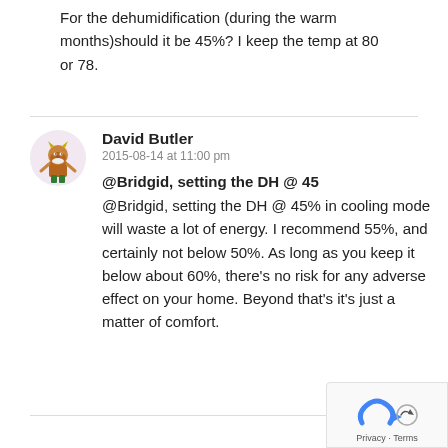For the dehumidification (during the warm months)should it be 45%? I keep the temp at 80 or 78.
David Butler
2015-08-14 at 11:00 pm
@Bridgid, setting the DH @ 45
@Bridgid, setting the DH @ 45% in cooling mode will waste a lot of energy. I recommend 55%, and certainly not below 50%. As long as you keep it below about 60%, there's no risk for any adverse effect on your home. Beyond that's it's just a matter of comfort.
[Figure (illustration): Cartoon avatar of David Butler — a bearded character with horns and green pants on a light pink circular background]
Privacy · Terms